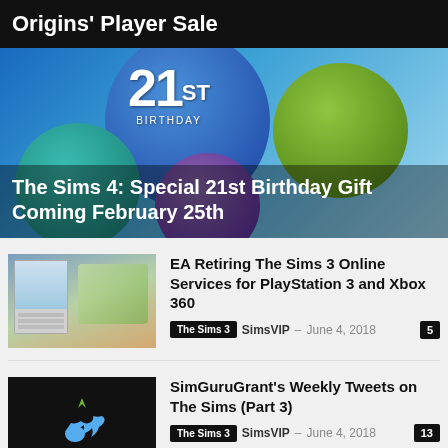Origins' Player Sale
[Figure (photo): The Sims 4 21st Birthday promotional hero image with colorful balloons against a blue background]
The Sims 4: Special 21st Birthday Gift Coming February 25th
[Figure (photo): Thumbnail screenshot of The Sims 3 showing game interface with a neighborhood view]
EA Retiring The Sims 3 Online Services for PlayStation 3 and Xbox 360
The Sims 3  SimsVIP – June 4, 2018  5
[Figure (photo): Thumbnail showing The Sims logo with a blue Twitter bird on black background]
SimGuruGrant's Weekly Tweets on The Sims (Part 3)
The Sims 3  SimsVIP – June 4, 2018  13